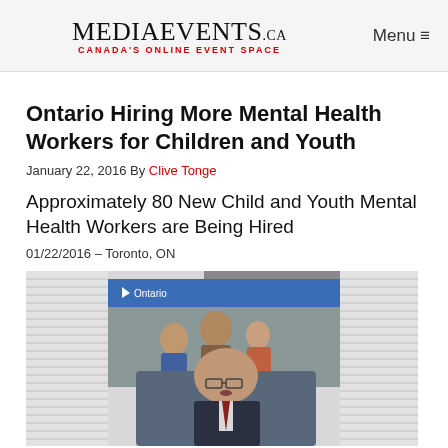MediaEvents.ca — CANADA'S ONLINE EVENT SPACE | Menu
Ontario Hiring More Mental Health Workers for Children and Youth
January 22, 2016 By Clive Tonge
Approximately 80 New Child and Youth Mental Health Workers are Being Hired
01/22/2016 – Toronto, ON
[Figure (photo): A man in a suit speaking at a podium with an Ontario government banner/screen behind him showing a group of young people]